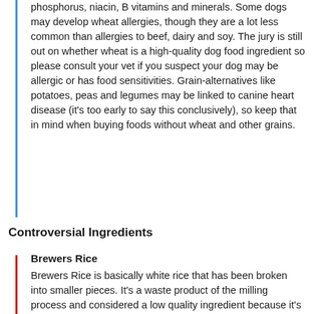phosphorus, niacin, B vitamins and minerals. Some dogs may develop wheat allergies, though they are a lot less common than allergies to beef, dairy and soy. The jury is still out on whether wheat is a high-quality dog food ingredient so please consult your vet if you suspect your dog may be allergic or has food sensitivities. Grain-alternatives like potatoes, peas and legumes may be linked to canine heart disease (it's too early to say this conclusively), so keep that in mind when buying foods without wheat and other grains.
Controversial Ingredients
Brewers Rice
Brewers Rice is basically white rice that has been broken into smaller pieces. It's a waste product of the milling process and considered a low quality ingredient because it's missing many of the nutrients contained in whole ground rice and brown rice.